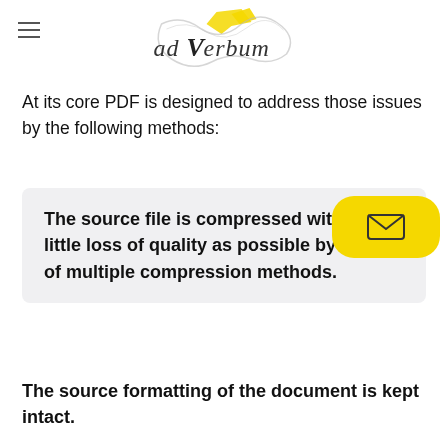ad Verbum
At its core PDF is designed to address those issues by the following methods:
The source file is compressed with as little loss of quality as possible by means of multiple compression methods.
The source formatting of the document is kept intact.